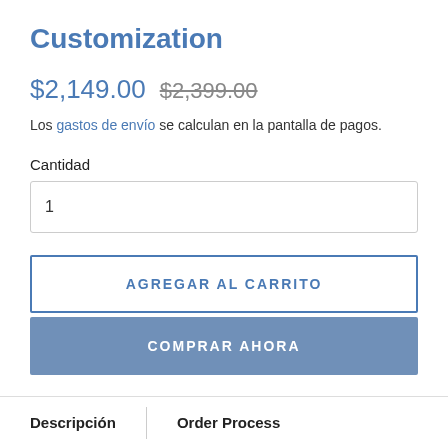Customization
$2,149.00  $2,399.00
Los gastos de envío se calculan en la pantalla de pagos.
Cantidad
1
AGREGAR AL CARRITO
COMPRAR AHORA
Descripción   Order Process